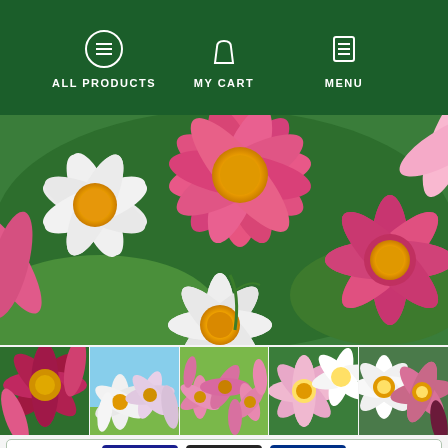ALL PRODUCTS | MY CART | MENU
[Figure (photo): Close-up photograph of pink, white and magenta cosmos flowers with yellow centers against green foliage background]
[Figure (photo): Thumbnail 1: Close-up of dark pink/magenta cosmos flowers]
[Figure (photo): Thumbnail 2: Wide shot of white and pink cosmos flowers in field]
[Figure (photo): Thumbnail 3: Field of pink cosmos flowers]
[Figure (photo): Thumbnail 4: Close-up of pink and white cosmos flowers]
[Figure (photo): Thumbnail 5: Mixed pink and white cosmos flowers]
[Figure (other): Payment methods bar showing Visa, Mastercard, and PayPal logos]